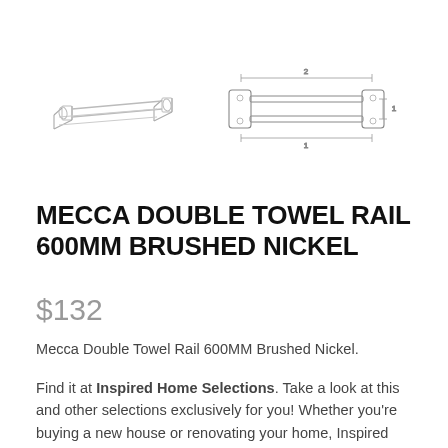[Figure (illustration): Product images of a double towel rail: a perspective/angled view on the left showing the rail in brushed nickel finish, and a technical/engineering schematic line drawing on the right showing front elevation with dimension lines labeled 1 and 2.]
MECCA DOUBLE TOWEL RAIL 600MM BRUSHED NICKEL
$132
Mecca Double Towel Rail 600MM Brushed Nickel.
Find it at Inspired Home Selections. Take a look at this and other selections exclusively for you! Whether you're buying a new house or renovating your home, Inspired Home Selections